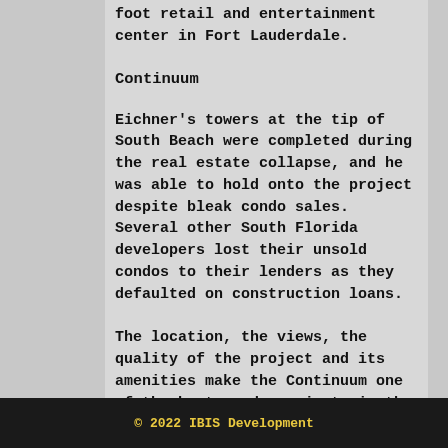foot retail and entertainment center in Fort Lauderdale.
Continuum
Eichner's towers at the tip of South Beach were completed during the real estate collapse, and he was able to hold onto the project despite bleak condo sales. Several other South Florida developers lost their unsold condos to their lenders as they defaulted on construction loans.
The location, the views, the quality of the project and its amenities make the Continuum one of the best condo projects in the region, said Adam Lubkin, president and chief executive of Ibis Development Group in Miami.
© 2022 IBIS Development